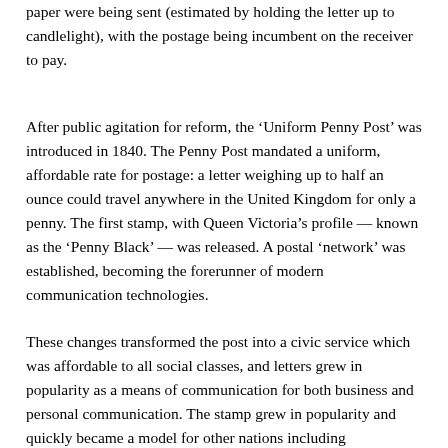paper were being sent (estimated by holding the letter up to candlelight), with the postage being incumbent on the receiver to pay.
After public agitation for reform, the ‘Uniform Penny Post’ was introduced in 1840. The Penny Post mandated a uniform, affordable rate for postage: a letter weighing up to half an ounce could travel anywhere in the United Kingdom for only a penny. The first stamp, with Queen Victoria’s profile — known as the ‘Penny Black’ — was released. A postal ‘network’ was established, becoming the forerunner of modern communication technologies.
These changes transformed the post into a civic service which was affordable to all social classes, and letters grew in popularity as a means of communication for both business and personal communication. The stamp grew in popularity and quickly became a model for other nations including